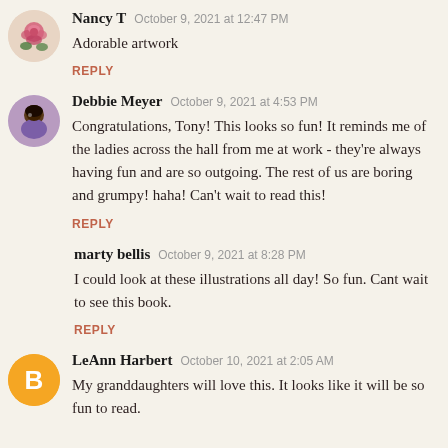[Figure (photo): Rose avatar image (circular)]
Nancy T   October 9, 2021 at 12:47 PM
Adorable artwork
REPLY
[Figure (photo): Debbie Meyer avatar image (circular)]
Debbie Meyer   October 9, 2021 at 4:53 PM
Congratulations, Tony! This looks so fun! It reminds me of the ladies across the hall from me at work - they're always having fun and are so outgoing. The rest of us are boring and grumpy! haha! Can't wait to read this!
REPLY
marty bellis   October 9, 2021 at 8:28 PM
I could look at these illustrations all day! So fun. Cant wait to see this book.
REPLY
[Figure (logo): Blogger B logo orange circle]
LeAnn Harbert   October 10, 2021 at 2:05 AM
My granddaughters will love this. It looks like it will be so fun to read.